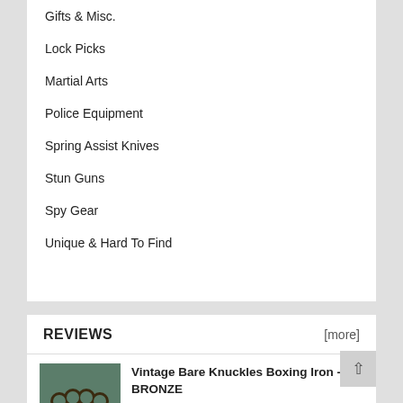Gifts & Misc.
Lock Picks
Martial Arts
Police Equipment
Spring Assist Knives
Stun Guns
Spy Gear
Unique & Hard To Find
REVIEWS
[more]
Vintage Bare Knuckles Boxing Iron - BRONZE
★★★★★
$28.95
Best quality knuckles I've ever owned. Amazing! I'll be giving these to